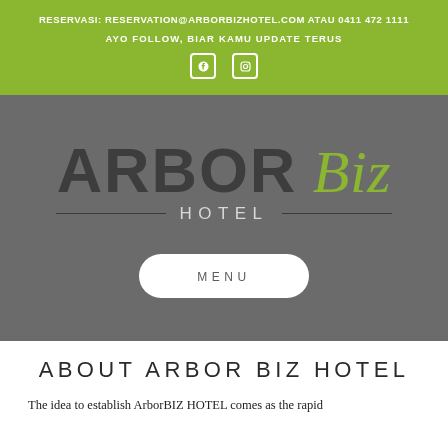RESERVASI: RESERVATION@ARBORBIZHOTEL.COM ATAU 0411 472 1111
AYO FOLLOW, BIAR KAMU UPDATE TERUS
[Figure (logo): ARBOR Biz HOTEL logo on grey background with MENU button]
ABOUT ARBOR BIZ HOTEL
The idea to establish ArborBIZ HOTEL comes as the rapid